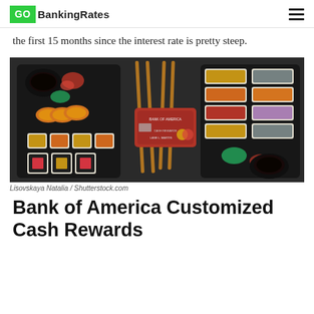GOBankingRates
the first 15 months since the interest rate is pretty steep.
[Figure (photo): Overhead view of sushi platters with chopsticks and a red Bank of America Cash Rewards credit card placed in the center on a dark stone background]
Lisovskaya Natalia / Shutterstock.com
Bank of America Customized Cash Rewards